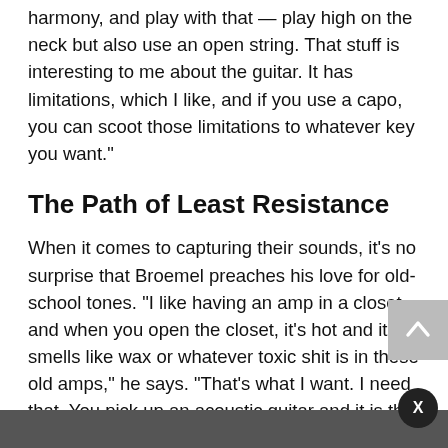harmony, and play with that — play high on the neck but also use an open string. That stuff is interesting to me about the guitar. It has limitations, which I like, and if you use a capo, you can scoot those limitations to whatever key you want."
The Path of Least Resistance
When it comes to capturing their sounds, it's no surprise that Broemel preaches his love for old-school tones. "I like having an amp in a closet, and when you open the closet, it's hot and it smells like wax or whatever toxic shit is in these old amps," he says. "That's what I want. I need that. You pick up an acoustic guitar and it is this beautiful thing and it smells like wood." This provides Broemel with a more-visceral sonic experience. He adds, "I always feel like I need the sensation of touching the music. It's been hard with digital. When you were working with analog all the time, it really felt like every sound had a tactile feel. I am over that, but as far as guitar sounds, you've got to have